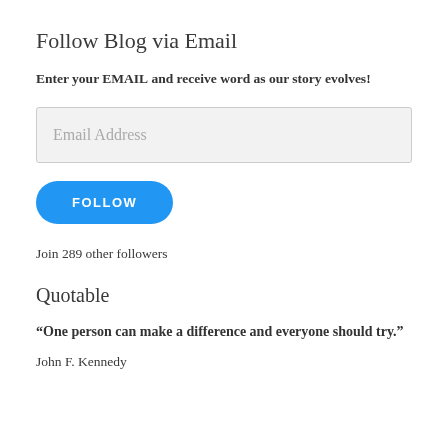Follow Blog via Email
Enter your EMAIL and receive word as our story evolves!
[Figure (other): Email address input field with placeholder text 'Email Address']
[Figure (other): Blue rounded FOLLOW button]
Join 289 other followers
Quotable
“One person can make a difference and everyone should try.”
John F. Kennedy